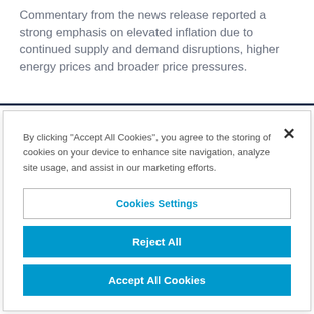Commentary from the news release reported a strong emphasis on elevated inflation due to continued supply and demand disruptions, higher energy prices and broader price pressures.
By clicking "Accept All Cookies", you agree to the storing of cookies on your device to enhance site navigation, analyze site usage, and assist in our marketing efforts.
Cookies Settings
Reject All
Accept All Cookies